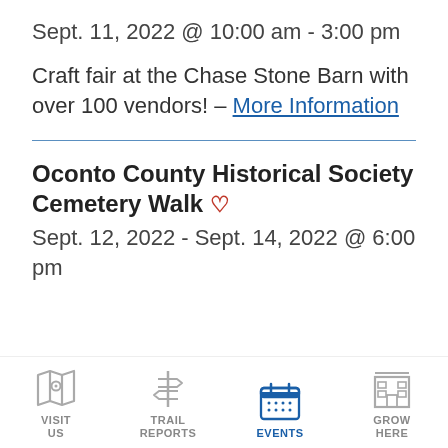Sept. 11, 2022 @ 10:00 am - 3:00 pm
Craft fair at the Chase Stone Barn with over 100 vendors! - More Information
Oconto County Historical Society Cemetery Walk
Sept. 12, 2022 - Sept. 14, 2022 @ 6:00 pm
[Figure (infographic): Navigation bar with four icons: Visit Us (map icon), Trail Reports (signpost icon), Events (calendar icon, highlighted blue), Grow Here (building icon)]